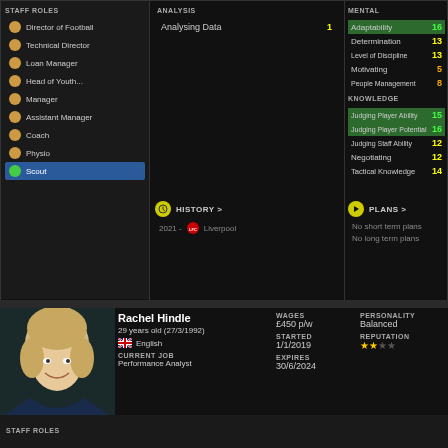STAFF ROLES
Director of Football
Technical Director
Loan Manager
Head of Youth...
Manager
Assistant Manager
Coach
Physio
Scout
ANALYSIS
Analysing Data  1
MENTAL
Adaptability 16
Determination 13
Level of Discipline 13
Motivating 5
People Management 8
KNOWLEDGE
Judging Player Ability 15
Judging Player Potential 16
Judging Staff Ability 12
Negotiating 12
Tactical Knowledge 14
HISTORY >
2021 -  Liverpool
PLANS >
No short term plans
No long term plans
Rachel Hindle
29 years old (27/3/1992)
English
CURRENT JOB
Performance Analyst
WAGES
£450 p/w
STARTED
1/1/2019
EXPIRES
30/6/2024
PERSONALITY
Balanced
REPUTATION
STAFF ROLES
ANALYSIS
Analysing Data  12
MENTAL
Adaptability 20